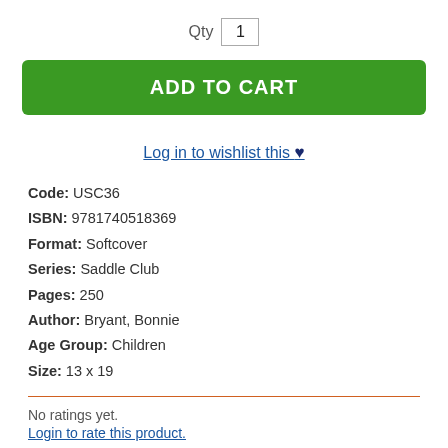Qty 1
ADD TO CART
Log in to wishlist this ♥
Code: USC36
ISBN: 9781740518369
Format: Softcover
Series: Saddle Club
Pages: 250
Author: Bryant, Bonnie
Age Group: Children
Size: 13 x 19
No ratings yet.
Login to rate this product.